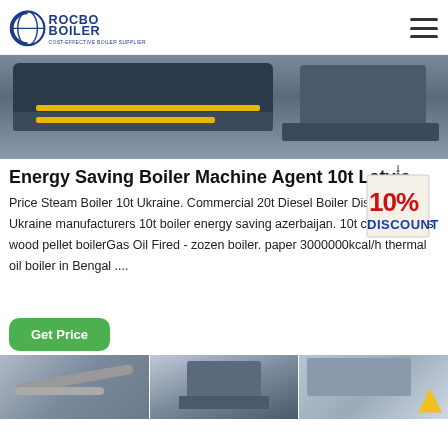ROCBO BOILER - COST-EFFECTIVE BOILER SUPPLIER
[Figure (photo): Industrial boiler machinery with yellow pipes in a factory setting]
Energy Saving Boiler Machine Agent 10t Latvia
[Figure (infographic): 10% DISCOUNT badge/tag graphic]
Price Steam Boiler 10t Ukraine. Commercial 20t Diesel Boiler Distributor Ukraine manufacturers 10t boiler energy saving azerbaijan. 10t coal biomass wood pellet boilerGas Oil Fired - zozen boiler. paper 3000000kcal/h thermal oil boiler in Bengal ....
Get Price
[Figure (photo): Two images of industrial boiler equipment in factory settings]